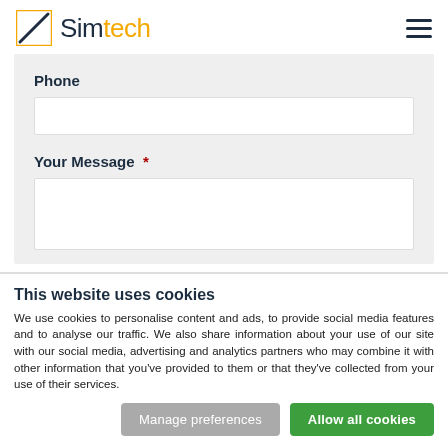Simtech
Phone
Your Message *
This website uses cookies
We use cookies to personalise content and ads, to provide social media features and to analyse our traffic. We also share information about your use of our site with our social media, advertising and analytics partners who may combine it with other information that you've provided to them or that they've collected from your use of their services.
Manage preferences
Allow all cookies